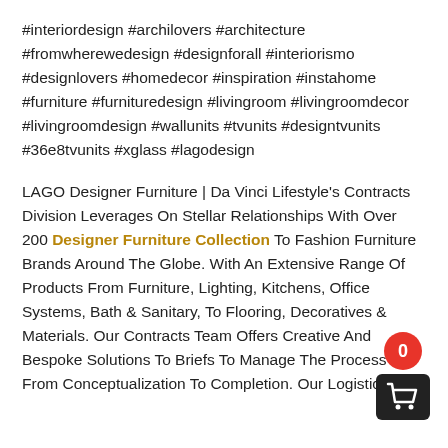#interiordesign #archilovers #architecture #fromwherewedesign #designforall #interiorismo #designlovers #homedecor #inspiration #instahome #furniture #furnituredesign #livingroom #livingroomdecor #livingroomdesign #wallunits #tvunits #designtvunits #36e8tvunits #xglass #lagodesign
LAGO Designer Furniture | Da Vinci Lifestyle's Contracts Division Leverages On Stellar Relationships With Over 200 Designer Furniture Collection To Fashion Furniture Brands Around The Globe. With An Extensive Range Of Products From Furniture, Lighting, Kitchens, Office Systems, Bath & Sanitary, To Flooring, Decoratives & Materials. Our Contracts Team Offers Creative And Bespoke Solutions To Briefs To Manage The Process From Conceptualization To Completion. Our Logistics